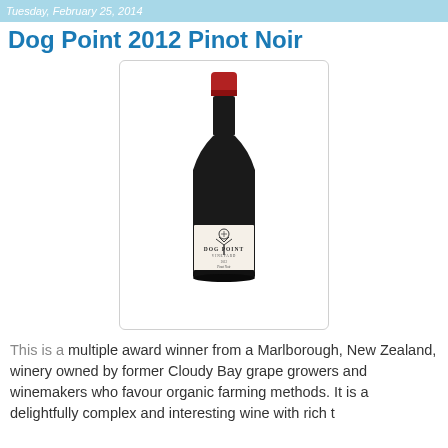Tuesday, February 25, 2014
Dog Point 2012 Pinot Noir
[Figure (photo): A bottle of Dog Point Vineyard 2012 Pinot Noir from Marlborough, New Zealand. The bottle has a red foil top, dark glass body, and a white label showing a tree logo with 'DOG POINT VINEYARD' text and '2012 Pinot Noir Marlborough' details.]
This is a multiple award winner from a Marlborough, New Zealand, winery owned by former Cloudy Bay grape growers and winemakers who favour organic farming methods. It is a delightfully complex and interesting wine...